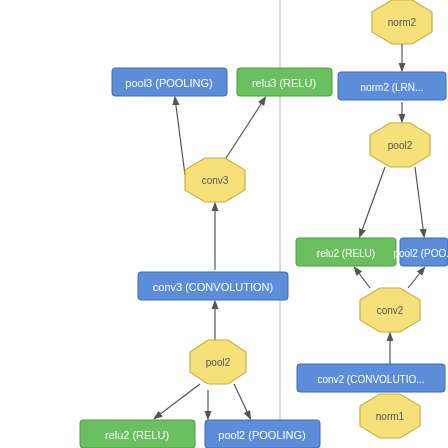[Figure (flowchart): Neural network architecture flowchart showing two parallel network diagrams. Left diagram: pool1 (POOLING) -> pool1 octagon -> relu1 (RELU) [green] and conv2 (CONVOLUTION) [blue] -> conv2 octagon -> relu2 (RELU) [green] and pool2 (POOLING) [blue] -> pool2 octagon -> conv3 (CONVOLUTION) [blue] -> conv3 octagon -> pool3 (POOLING) [blue] and relu3 (RELU) [green]. Right diagram: pool1 octagon -> relu1 (RELU) [green] and norm1 (L...) [blue] -> norm1 octagon -> conv2 (CONVOLUTION) [blue] -> conv2 octagon -> relu2 (RELU) [green] and pool2 (POO...) [blue] -> pool2 octagon -> norm2 (LRN...) [blue] -> norm2 octagon -> norm2 [yellow].]